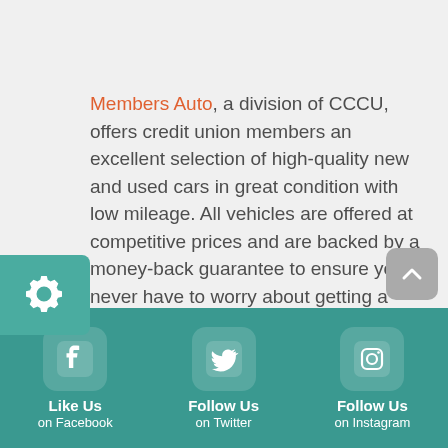Members Auto, a division of CCCU, offers credit union members an excellent selection of high-quality new and used cars in great condition with low mileage. All vehicles are offered at competitive prices and are backed by a money-back guarantee to ensure you never have to worry about getting a bad deal. Contact us at 702-939-3115 for more information.
[Figure (infographic): Teal gear settings tab icon on left side of page]
[Figure (infographic): Gray scroll-to-top button with upward chevron]
Like Us on Facebook | Follow Us on Twitter | Follow Us on Instagram